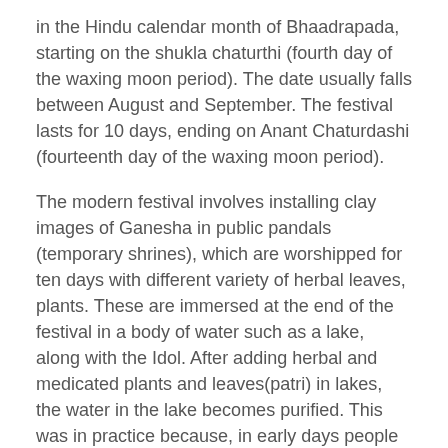in the Hindu calendar month of Bhaadrapada, starting on the shukla chaturthi (fourth day of the waxing moon period). The date usually falls between August and September. The festival lasts for 10 days, ending on Anant Chaturdashi (fourteenth day of the waxing moon period).
The modern festival involves installing clay images of Ganesha in public pandals (temporary shrines), which are worshipped for ten days with different variety of herbal leaves, plants. These are immersed at the end of the festival in a body of water such as a lake, along with the Idol. After adding herbal and medicated plants and leaves(patri) in lakes, the water in the lake becomes purified. This was in practice because, in early days people used to drink lake water, and to protect people from infections and viral diseases especially in this season, this tradition was introduced. Some Hindus also install the clay images of Ganesha in their homes.